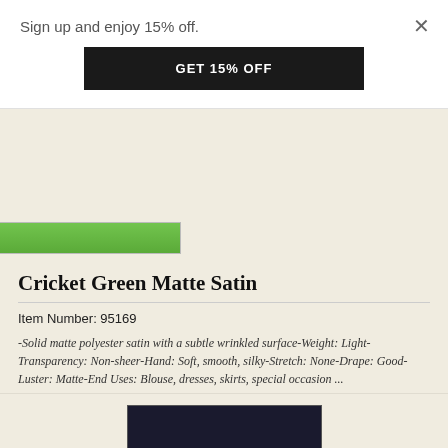Sign up and enjoy 15% off.
GET 15% OFF
[Figure (photo): Cricket green matte satin fabric swatch - green colored fabric]
Cricket Green Matte Satin
Item Number: 95169
-Solid matte polyester satin with a subtle wrinkled surface-Weight: Light-Transparency: Non-sheer-Hand: Soft, smooth, silky-Stretch: None-Drape: Good-Luster: Matte-End Uses: Blouse, dresses, skirts, special occasion ...
$6.95 / Yard
[Figure (photo): Dark navy/black matte satin fabric swatch]